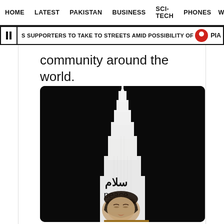HOME   LATEST   PAKISTAN   BUSINESS   SCI-TECH   PHONES   W ☰
S SUPPORTERS TO TAKE TO STREETS AMID POSSIBILITY OF IMRAN'S ARREST   PIA
community around the world.
[Figure (photo): Night photo of the Burj Khalifa skyscraper lit up displaying Arabic text 'سلام' (salaam) and 'peace' in English, along with a projected image of a woman with closed eyes wearing a headscarf, in a dark night sky background.]